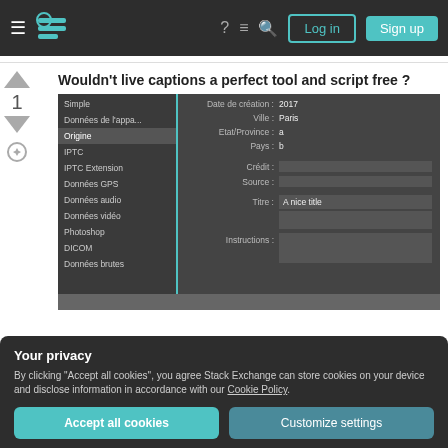Stack Exchange navigation bar with Log in and Sign up buttons
Wouldn't live captions a perfect tool and script free ?
[Figure (screenshot): Screenshot of an image metadata editor (like Adobe Bridge) showing left panel with items: Simple, Données de l'appa..., Origine (selected/highlighted), IPTC, IPTC Extension, Données GPS, Données audio, Données vidéo, Photoshop, DICOM, Données brutes. Right panel shows fields: Date de création: 2017, Ville: Paris, Etat/Province: a, Pays: b, Crédit: (empty), Source: (empty), Titre: A nice title, Instructions: (empty textarea)]
Your privacy
By clicking "Accept all cookies", you agree Stack Exchange can store cookies on your device and disclose information in accordance with our Cookie Policy.
Accept all cookies
Customize settings